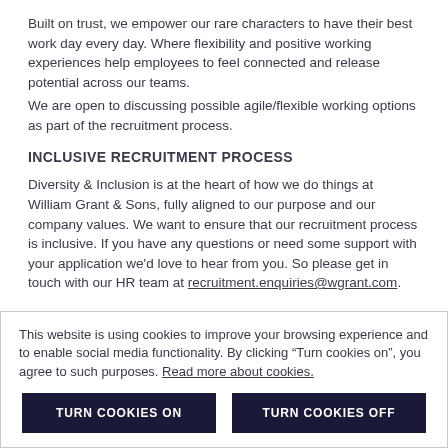Built on trust, we empower our rare characters to have their best work day every day. Where flexibility and positive working experiences help employees to feel connected and release potential across our teams.
We are open to discussing possible agile/flexible working options as part of the recruitment process.
INCLUSIVE RECRUITMENT PROCESS
Diversity & Inclusion is at the heart of how we do things at William Grant & Sons, fully aligned to our purpose and our company values. We want to ensure that our recruitment process is inclusive. If you have any questions or need some support with your application we'd love to hear from you. So please get in touch with our HR team at recruitment.enquiries@wgrant.com.
This website is using cookies to improve your browsing experience and to enable social media functionality. By clicking “Turn cookies on”, you agree to such purposes. Read more about cookies.